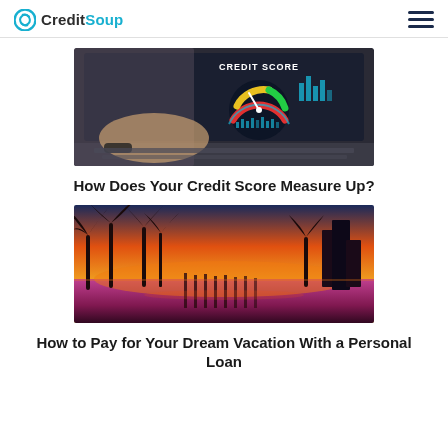CreditSoup
[Figure (photo): Laptop screen displaying a credit score gauge/meter with colorful dial and bar charts, with a hand typing on keyboard. CREDIT SCORE text visible on screen.]
How Does Your Credit Score Measure Up?
[Figure (photo): Tropical sunset scene with silhouettes of palm trees and a pier reflected in water, orange and pink sky.]
How to Pay for Your Dream Vacation With a Personal Loan